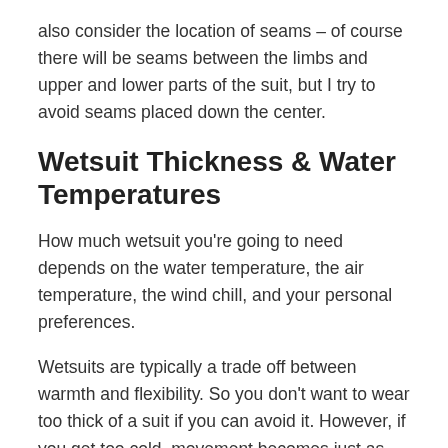also consider the location of seams – of course there will be seams between the limbs and upper and lower parts of the suit, but I try to avoid seams placed down the center.
Wetsuit Thickness & Water Temperatures
How much wetsuit you're going to need depends on the water temperature, the air temperature, the wind chill, and your personal preferences.
Wetsuits are typically a trade off between warmth and flexibility. So you don't want to wear too thick of a suit if you can avoid it. However, if you get too cold, movement becomes just as difficult as it would be in a thicker suit.
First, you'll need to know what the different wetsuit